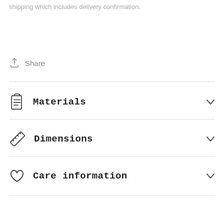shipping which includes delivery confirmation.
Share
Materials
Dimensions
Care information